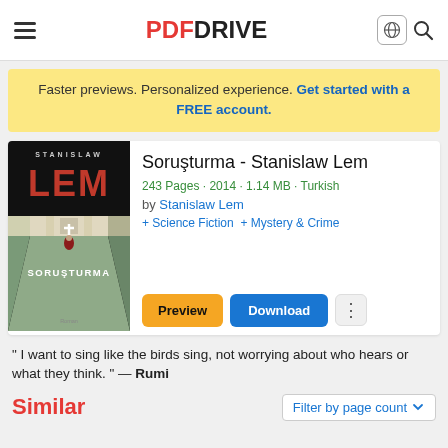PDF DRIVE
Faster previews. Personalized experience. Get started with a FREE account.
Soruşturma - Stanislaw Lem
243 Pages · 2014 · 1.14 MB · Turkish
by Stanislaw Lem
+ Science Fiction  + Mystery & Crime
[Figure (illustration): Book cover of Soruşturma by Stanislaw Lem — dark corridor with cross figure, red LEM title text on dark background]
"I want to sing like the birds sing, not worrying about who hears or what they think." — Rumi
Similar
Filter by page count